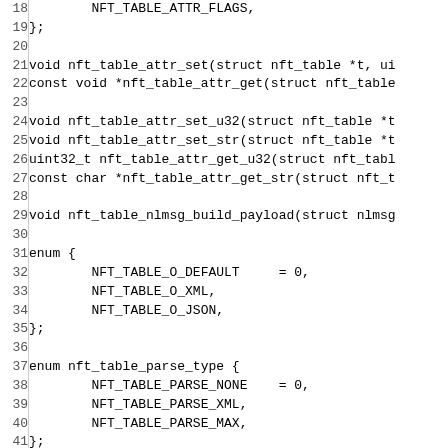Source code listing showing C header file declarations for nft_table functions and enums, lines 18-47